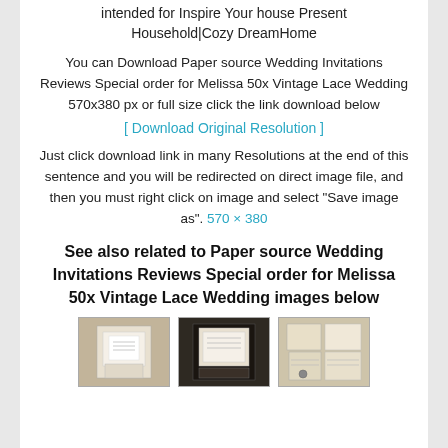intended for Inspire Your house Present Household|Cozy DreamHome
You can Download Paper source Wedding Invitations Reviews Special order for Melissa 50x Vintage Lace Wedding 570x380 px or full size click the link download below
[ Download Original Resolution ]
Just click download link in many Resolutions at the end of this sentence and you will be redirected on direct image file, and then you must right click on image and select "Save image as". 570 × 380
See also related to Paper source Wedding Invitations Reviews Special order for Melissa 50x Vintage Lace Wedding images below
[Figure (photo): Three thumbnail photos of vintage lace wedding invitation sets]